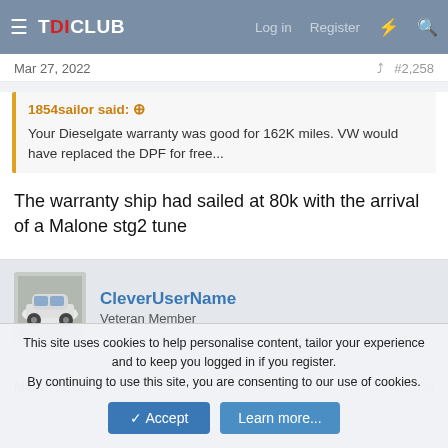TDICLUB — Log in  Register
Mar 27, 2022  #2,258
1854sailor said: ⊕
Your Dieselgate warranty was good for 162K miles. VW would have replaced the DPF for free...
The warranty ship had sailed at 80k with the arrival of a Malone stg2 tune
CleverUserName
Veteran Member
Mar 27, 2022  #2,259
This site uses cookies to help personalise content, tailor your experience and to keep you logged in if you register.
By continuing to use this site, you are consenting to our use of cookies.
Accept  Learn more...